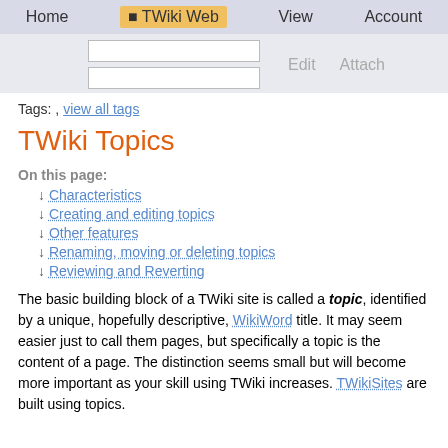Home  TWiki Web  View  Account
Tags: , view all tags
TWiki Topics
On this page:
↓ Characteristics
↓ Creating and editing topics
↓ Other features
↓ Renaming, moving or deleting topics
↓ Reviewing and Reverting
The basic building block of a TWiki site is called a topic, identified by a unique, hopefully descriptive, WikiWord title. It may seem easier just to call them pages, but specifically a topic is the content of a page. The distinction seems small but will become more important as your skill using TWiki increases. TWikiSites are built using topics.